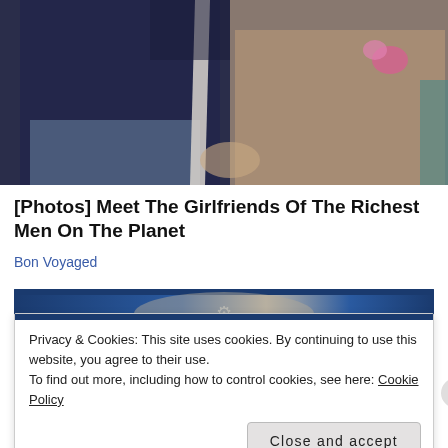[Figure (photo): A man in a dark navy suit with a light grey/white tie seated next to a woman with long brown hair wearing a beige lace outfit with a pink flower accessory, appearing to be at a formal event.]
[Photos] Meet The Girlfriends Of The Richest Men On The Planet
Bon Voyaged
Privacy & Cookies: This site uses cookies. By continuing to use this website, you agree to their use.
To find out more, including how to control cookies, see here: Cookie Policy
Close and accept